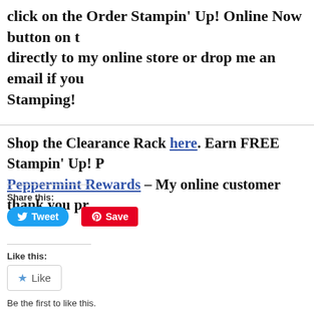click on the Order Stampin' Up! Online Now button on t directly to my online store or drop me an email if you Stamping!
Shop the Clearance Rack here. Earn FREE Stampin' Up! P Peppermint Rewards – My online customer thank you pr
Share this:
[Figure (other): Tweet button (Twitter/X social share button, blue rounded rectangle) and Save button (Pinterest red rectangle)]
Like this:
[Figure (other): Like button widget with star icon]
Be the first to like this.
Categories: Double Rewards Points, Ordering Special! | Tags: Do points, Double Rewards, Online Ordering Special, Ordering Bonu
← OLDER POST